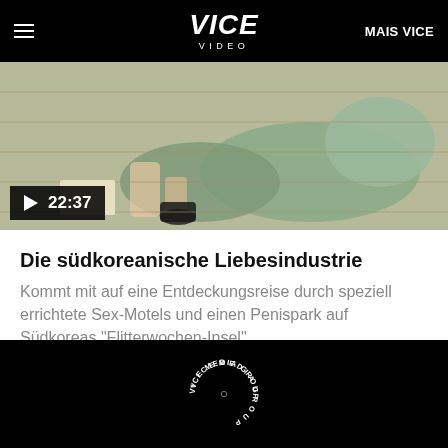VICE VIDEO | MAIS VICE
[Figure (photo): Video thumbnail showing a person in a green inflatable costume on a wooden surface, with a play button overlay and timestamp 22:37]
Die südkoreanische Liebesindustrie
Kommt mit auf eine Entdeckungsreise durch speziell errichtete Sex-Motels und einen Penispark auf Südkoreas "Flitterwochen-Insel".
VICE MEDIA GROUP